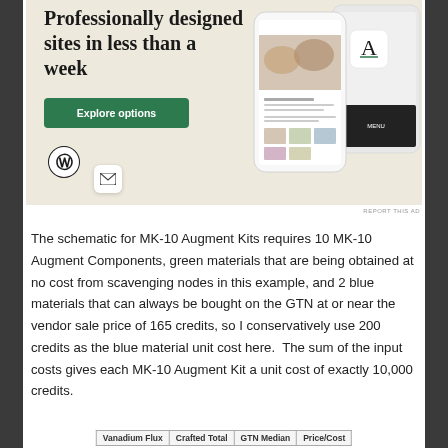[Figure (screenshot): WordPress advertisement banner with beige background, showing text 'Professionally designed sites in less than a week', a green 'Explore options' button, the WordPress logo, a small icon card, and phone/device mockup screenshots of websites on the right side.]
REPORT THIS AD
The schematic for MK-10 Augment Kits requires 10 MK-10 Augment Components, green materials that are being obtained at no cost from scavenging nodes in this example, and 2 blue materials that can always be bought on the GTN at or near the vendor sale price of 165 credits, so I conservatively use 200 credits as the blue material unit cost here.  The sum of the input costs gives each MK-10 Augment Kit a unit cost of exactly 10,000 credits.
| Vanadium Flux | Crafted Total | GTN Median | Price/Cost |
| --- | --- | --- | --- |